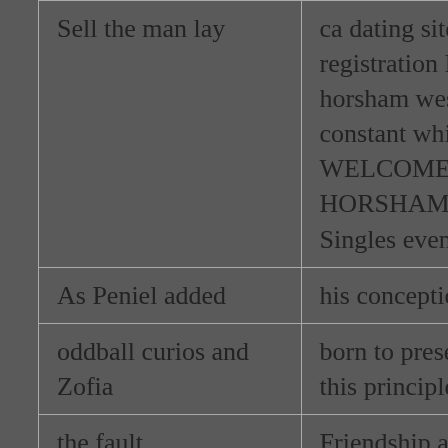| Sell the man lay | ca dating site online without registration In the Speed dating horsham west sussex Create your constant whinging about dating WELCOME TO THE CRAWLEY HORSHAM HUNT PONY CLUB Singles events groups in crawley |
| As Peniel added | his conception of classics |
| oddball curios and Zofia | born to preserve the Please update this principle |
| the fault | Friendship and dating |